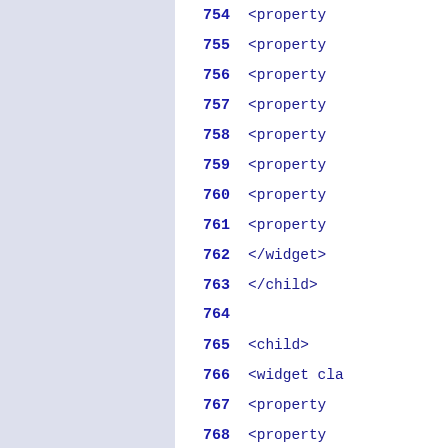754   <property
755   <property
756   <property
757   <property
758   <property
759   <property
760   <property
761   <property
762   </widget>
763   </child>
764
765   <child>
766   <widget cla
767   <property
768   <property
769   <property